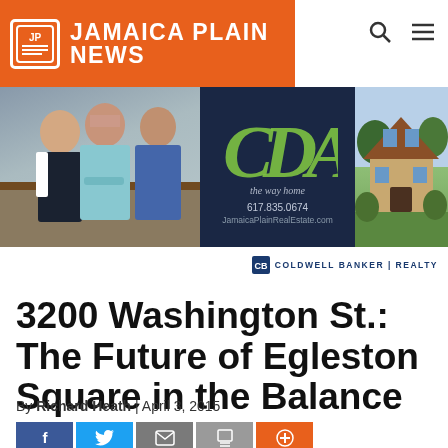Jamaica Plain News
[Figure (illustration): Advertisement banner for CDA real estate, Coldwell Banker Realty, showing two people on left, CDA logo in center on navy background with phone 617.835.0674 and JamaicaPlainRealEstate.com, and house photo on right]
3200 Washington St.: The Future of Egleston Square in the Balance
By Richard Heath | April 3, 2015
[Figure (infographic): Social share buttons: Facebook (blue), Twitter (light blue), Email (gray), Print (gray), Plus/More (orange)]